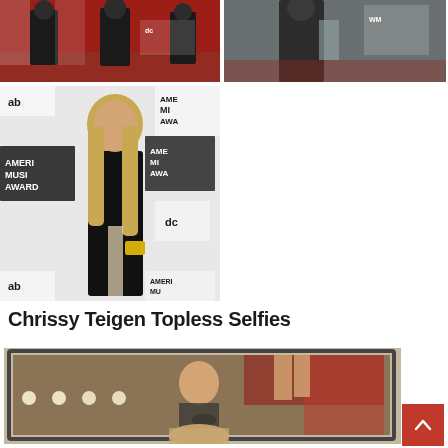[Figure (photo): Celebrity on red carpet at American Music Awards, top-left photo]
[Figure (photo): Celebrity in black dress at AMAs, top-right photo]
[Figure (photo): Chrissy Teigen in black gown at American Music Awards red carpet]
Chrissy Teigen Topless Selfies
[Figure (photo): Chrissy Teigen topless selfie photo]